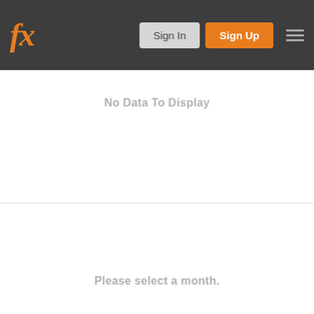fx Sign In Sign Up
No Data To Display
Please select a month.